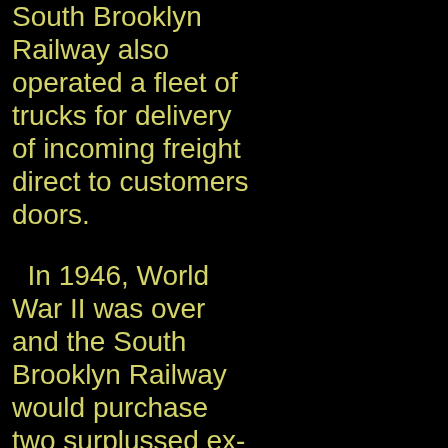South Brooklyn Railway also operated a fleet of trucks for delivery of incoming freight direct to customers doors.
In 1946, World War II was over and the South Brooklyn Railway would purchase two surplussed ex-U.S. Army Whitcomb 65 ton diesel locomotives, #8 & #9 (first).